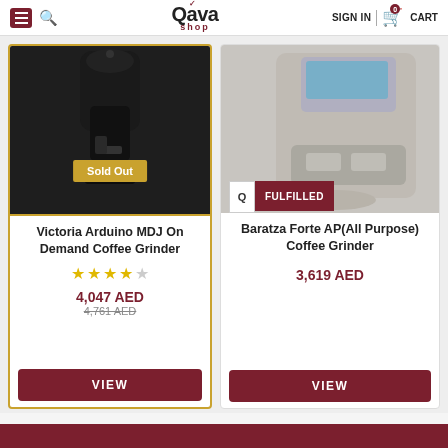Qava Shop — SIGN IN | 0 CART
[Figure (photo): Black coffee grinder product image with 'Sold Out' badge in gold]
Victoria Arduino MDJ On Demand Coffee Grinder
★★★★☆
4,047 AED
4,761 AED (strikethrough)
VIEW
[Figure (photo): Silver/metallic coffee grinder product image with Q Fulfilled badge in dark red]
Baratza Forte AP(All Purpose) Coffee Grinder
3,619 AED
VIEW